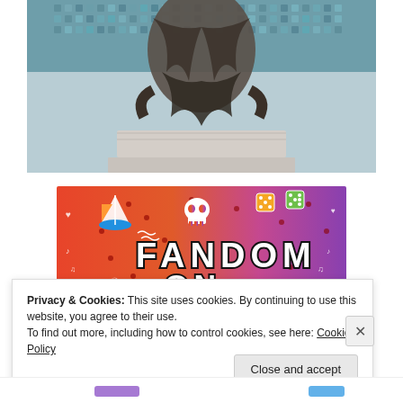[Figure (photo): Close-up photo of a bronze or stone statue draped in robes/fabric, with teal/blue mosaic tiles in the background and a marble pedestal below]
[Figure (illustration): Colorful graphic with orange-to-purple gradient background covered in white doodle icons (skulls, hearts, music notes, dice, arrows, sailboat). Large bold text reads 'FANDOM ON tumblr']
Privacy & Cookies: This site uses cookies. By continuing to use this website, you agree to their use.
To find out more, including how to control cookies, see here: Cookie Policy